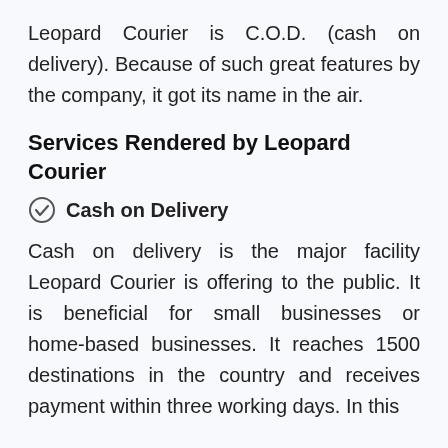Leopard Courier is C.O.D. (cash on delivery). Because of such great features by the company, it got its name in the air.
Services Rendered by Leopard Courier
Cash on Delivery
Cash on delivery is the major facility Leopard Courier is offering to the public. It is beneficial for small businesses or home-based businesses. It reaches 1500 destinations in the country and receives payment within three working days. In this